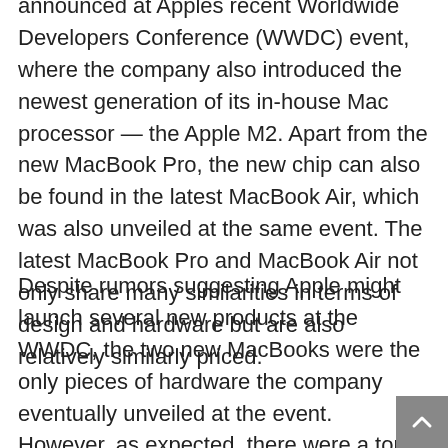announced at Apples recent Worldwide Developers Conference (WWDC) event, where the company also introduced the newest generation of its in-house Mac processor — the Apple M2. Apart from the new MacBook Pro, the new chip can also be found in the latest MacBook Air, which was also unveiled at the same event. The latest MacBook Pro and MacBook Air not only share many similarities in terms of design and hardware but are also relatively similarly priced.
Despite rumors suggesting Apple might launch several new products at the WWDC, the two new MacBooks were the only pieces of hardware the company eventually unveiled at the event. However, as expected, there were a ton of announcements in terms of software as the company previewed the newest versions of many of its operating systems. Apple not only announced iOS 16 and iPadOS 16, which will be rolled out to compatible devices this fall, but also took the wraps off watchOS 9, which includes a ton of new fitness-related updates. Also new is macOS Ventura, which gets many new productivity features.